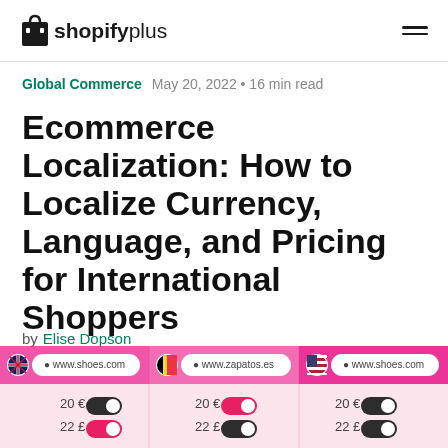shopifyplus (logo and navigation)
Global Commerce   May 20, 2022 • 16 min read
Ecommerce Localization: How to Localize Currency, Language, and Pricing for International Shoppers
by Elise Dopson
[Figure (screenshot): Three browser panels showing localized ecommerce storefronts: UK flag with www.shoes.com, Belgium flag with www.zapatos.es, US flag with www.shoes.com, each with currency toggle switches showing 20€ and 22£ options]